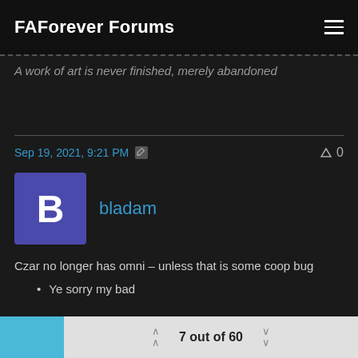FAForever Forums
A work of art is never finished, merely abandoned
Sep 19, 2021, 9:21 PM
bladam
Czar no longer has omni – unless that is some coop bug
Ye sorry my bad
7 out of 60